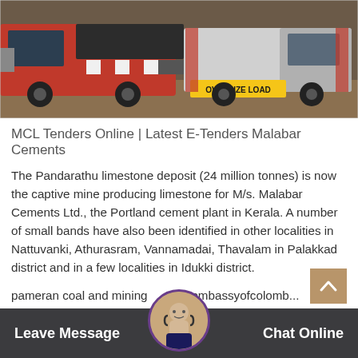[Figure (photo): Photo of large heavy-haul trucks including a red semi-truck and another truck with an 'OVERSIZE LOAD' sign on a dirt/gravel surface]
MCL Tenders Online | Latest E-Tenders Malabar Cements
The Pandarathu limestone deposit (24 million tonnes) is now the captive mine producing limestone for M/s. Malabar Cements Ltd., the Portland cement plant in Kerala. A number of small bands have also been identified in other localities in Nattuvanki, Athurasram, Vannamadai, Thavalam in Palakkad district and in a few localities in Idukki district.
pameran coal and mining... a embassyofcolomb... pa... tor co... system a...
Leave Message   Chat Online